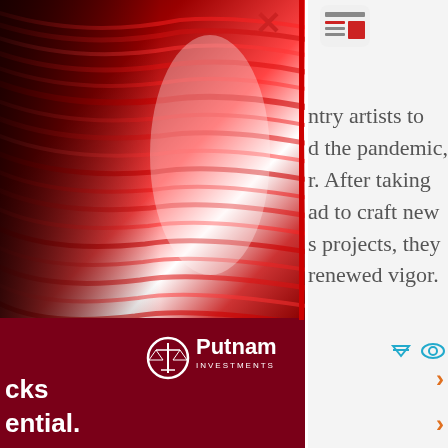[Figure (photo): Abstract red layered lines forming a human head silhouette, partially cropped. Below the image is a dark red/maroon section with the Putnam Investments logo and partial white bold text reading 'cks ential.']
ntry artists to d the pandemic, r. After taking ad to craft new s projects, they renewed vigor.
nedia to develop d unlikely hits. angy guitar